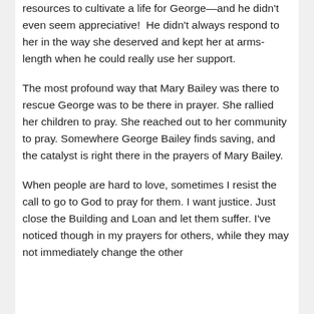resources to cultivate a life for George—and he didn't even seem appreciative!  He didn't always respond to her in the way she deserved and kept her at arms-length when he could really use her support.
The most profound way that Mary Bailey was there to rescue George was to be there in prayer. She rallied her children to pray. She reached out to her community to pray. Somewhere George Bailey finds saving, and the catalyst is right there in the prayers of Mary Bailey.
When people are hard to love, sometimes I resist the call to go to God to pray for them. I want justice. Just close the Building and Loan and let them suffer. I've noticed though in my prayers for others, while they may not immediately change the other